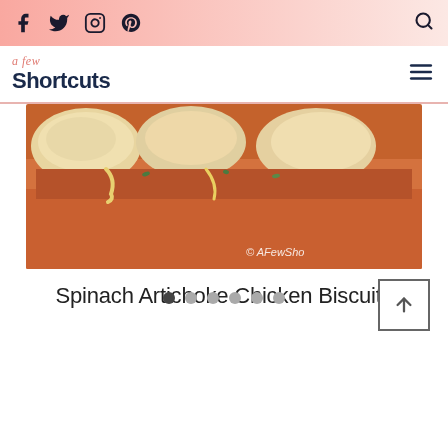Social icons: Facebook, Twitter, Instagram, Pinterest; Search icon
a few Shortcuts — navigation logo with hamburger menu
[Figure (photo): Close-up photo of Spinach Artichoke Chicken Biscuits on an orange/terracotta plate, with biscuits visible. Watermark reads '© AFewSho' in bottom right corner.]
Spinach Artichoke Chicken Biscuits
[Figure (other): Slider navigation dots: 6 dots, first one dark/active, rest grey]
[Figure (other): Scroll to top button with upward arrow icon]